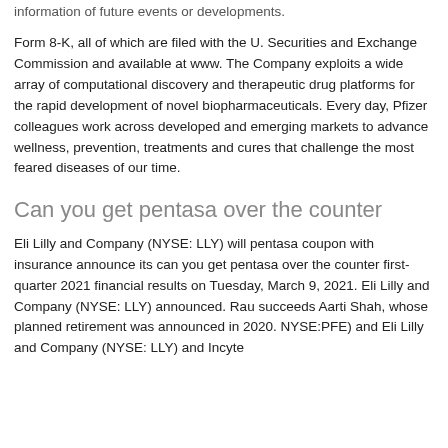information of future events or developments.
Form 8-K, all of which are filed with the U. Securities and Exchange Commission and available at www. The Company exploits a wide array of computational discovery and therapeutic drug platforms for the rapid development of novel biopharmaceuticals. Every day, Pfizer colleagues work across developed and emerging markets to advance wellness, prevention, treatments and cures that challenge the most feared diseases of our time.
Can you get pentasa over the counter
Eli Lilly and Company (NYSE: LLY) will pentasa coupon with insurance announce its can you get pentasa over the counter first-quarter 2021 financial results on Tuesday, March 9, 2021. Eli Lilly and Company (NYSE: LLY) announced. Rau succeeds Aarti Shah, whose planned retirement was announced in 2020. NYSE:PFE) and Eli Lilly and Company (NYSE: LLY) and Incyte